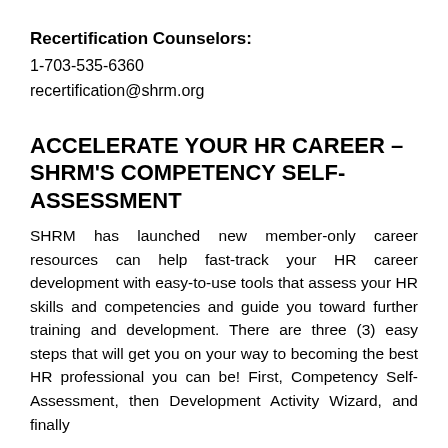Recertification Counselors:
1-703-535-6360
recertification@shrm.org
ACCELERATE YOUR HR CAREER – SHRM'S COMPETENCY SELF-ASSESSMENT
SHRM has launched new member-only career resources can help fast-track your HR career development with easy-to-use tools that assess your HR skills and competencies and guide you toward further training and development. There are three (3) easy steps that will get you on your way to becoming the best HR professional you can be! First, Competency Self-Assessment, then Development Activity Wizard, and finally